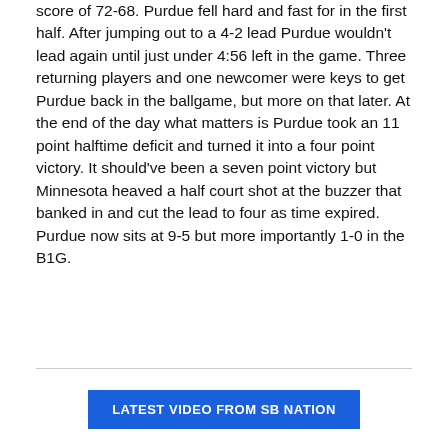score of 72-68. Purdue fell hard and fast for in the first half. After jumping out to a 4-2 lead Purdue wouldn't lead again until just under 4:56 left in the game. Three returning players and one newcomer were keys to get Purdue back in the ballgame, but more on that later. At the end of the day what matters is Purdue took an 11 point halftime deficit and turned it into a four point victory. It should've been a seven point victory but Minnesota heaved a half court shot at the buzzer that banked in and cut the lead to four as time expired. Purdue now sits at 9-5 but more importantly 1-0 in the B1G.
LATEST VIDEO FROM SB NATION